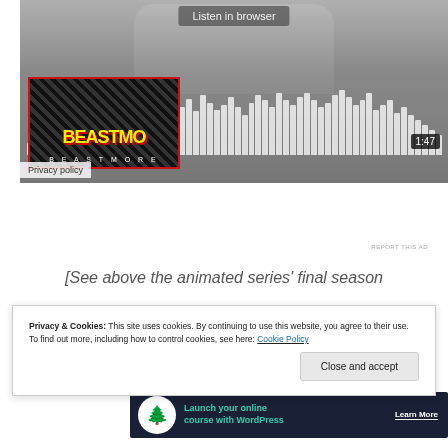[Figure (screenshot): Audio player with waveform visualization, album art for 'BEASTMORE', listen in browser button, and 1:47 timestamp]
Privacy policy
[Figure (screenshot): Advertisement banner: Launch your online course with WordPress – Learn More]
REPORT THIS AD
[See above the animated series' final season
Privacy & Cookies: This site uses cookies. By continuing to use this website, you agree to their use. To find out more, including how to control cookies, see here: Cookie Policy
Close and accept